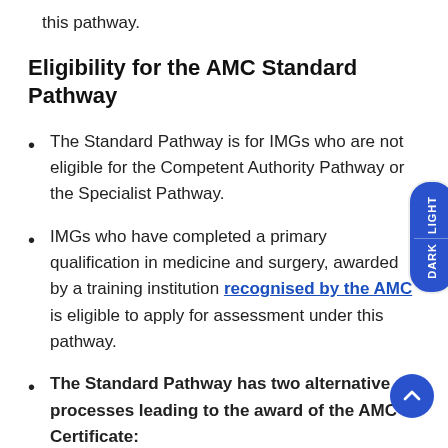this pathway.
Eligibility for the AMC Standard Pathway
The Standard Pathway is for IMGs who are not eligible for the Competent Authority Pathway or the Specialist Pathway.
IMGs who have completed a primary qualification in medicine and surgery, awarded by a training institution recognised by the AMC is eligible to apply for assessment under this pathway.
The Standard Pathway has two alternative processes leading to the award of the AMC Certificate:
Standard Pathway (AMC exam): Assessment is